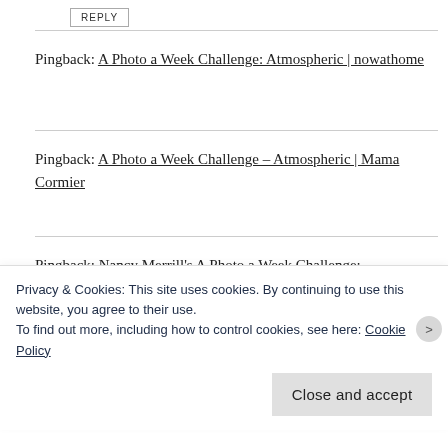REPLY
Pingback: A Photo a Week Challenge: Atmospheric | nowathome
Pingback: A Photo a Week Challenge – Atmospheric | Mama Cormier
Pingback: Nancy Merrill's A Photo a Week Challenge: Atmospheric AND Weekly Prompts Challenge- the
Privacy & Cookies: This site uses cookies. By continuing to use this website, you agree to their use.
To find out more, including how to control cookies, see here: Cookie Policy
Close and accept